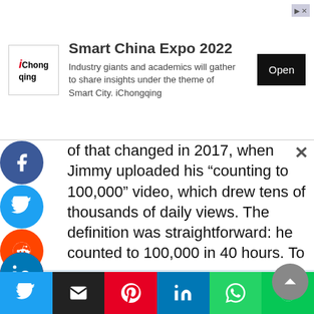[Figure (other): Smart China Expo 2022 advertisement banner with iChongqing logo, descriptive text, and Open button]
of that changed in 2017, when Jimmy uploaded his "counting to 100,000" video, which drew tens of thousands of daily views. The definition was straightforward: he counted to 100,000 in 40 hours. To remain under YouTube's 24-hour limit, had to speed up some bits. He then released the video "Counting to 200,000 (Road to a Mil)" as a follow-up.
MrBeast Contact